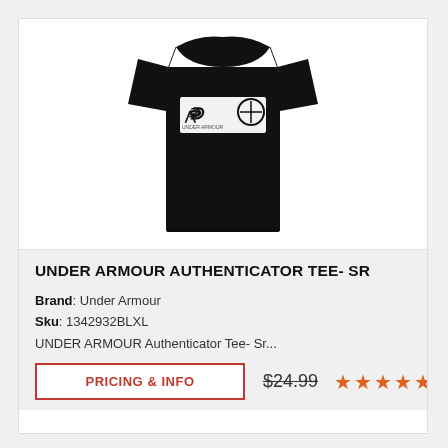[Figure (photo): Black Under Armour Authenticator Tee- SR t-shirt on white background, with white rectangular logo graphic on chest]
UNDER ARMOUR AUTHENTICATOR TEE- SR
Brand: Under Armour
Sku: 1342932BLXL
UNDER ARMOUR Authenticator Tee- Sr...
PRICING & INFO
$24.99
[Figure (other): 5 orange/red star rating icons]